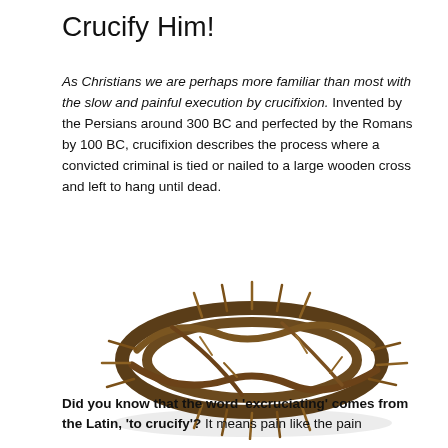Crucify Him!
As Christians we are perhaps more familiar than most with the slow and painful execution by crucifixion. Invented by the Persians around 300 BC and perfected by the Romans by 100 BC, crucifixion describes the process where a convicted criminal is tied or nailed to a large wooden cross and left to hang until dead.
[Figure (photo): A crown of thorns made from dark brown thorny branches, resting on a white background, photographed from a slightly elevated angle.]
Did you know that the word 'excruciating' comes from the Latin, 'to crucify'? It means pain like the pain